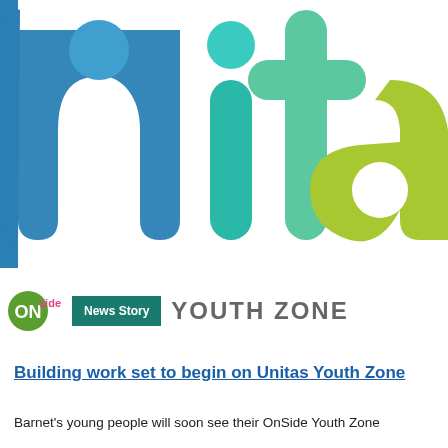[Figure (logo): Unitas Youth Zone logo — large partial letters 'nita' in blue-to-green gradient colors on white background, cropped at edges]
[Figure (logo): OnSide Youth Zone logo with small ON badge in green/pink and 'YOUTH ZONE' text in grey, with 'News Story' badge in teal]
Building work set to begin on Unitas Youth Zone
Barnet's young people will soon see their OnSide Youth Zone